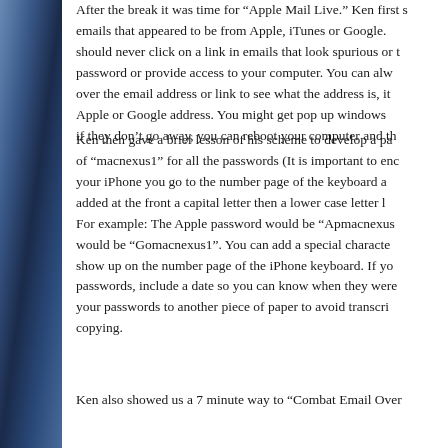After the break it was time for “Apple Mail Live.” Ken first s... emails that appeared to be from Apple, iTunes or Google. should never click on a link in emails that look spurious or t... password or provide access to your computer. You can alw... over the email address or link to see what the address is, it... Apple or Google address. You might get pop up windows... if they don’t go away, you can reboot your computer and th...
Ken then gave a brief lesson of his scheme to develop a pa... of “macnexus1” for all the passwords (It is important to enc... your iPhone you go to the number page of the keyboard a... added at the front a capital letter then a lower case letter l... For example: The Apple password would be “Apmacnexus...” would be “Gomacnexus1”. You can add a special characte... show up on the number page of the iPhone keyboard. If yo... passwords, include a date so you can know when they were... your passwords to another piece of paper to avoid transcri... copying.
Ken also showed us a 7 minute way to “Combat Email Over...